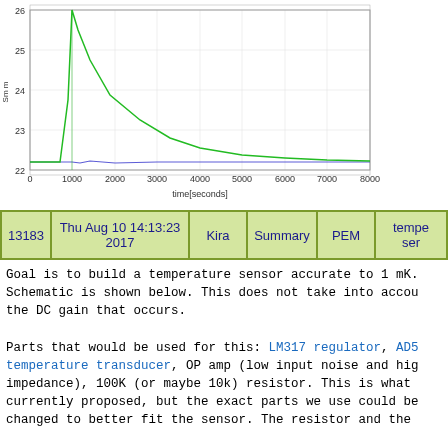[Figure (continuous-plot): Line chart showing temperature (Sm m) vs time[seconds] from 0 to 8000 seconds. A green curve spikes sharply around t=1000 to ~26 then decays back down to ~22.5 by t=8000. A blue nearly-flat line stays near 22.2 throughout.]
| 13183 | Thu Aug 10 14:13:23 2017 | Kira | Summary | PEM | tempe ser |
| --- | --- | --- | --- | --- | --- |
Goal is to build a temperature sensor accurate to 1 mK. Schematic is shown below. This does not take into account the DC gain that occurs.

Parts that would be used for this: LM317 regulator, AD5 temperature transducer, OP amp (low input noise and high impedance), 100K (or maybe 10k) resistor. This is what currently proposed, but the exact parts we use could be changed to better fit the sensor. The resistor and the will be decided based on the value of the AD5